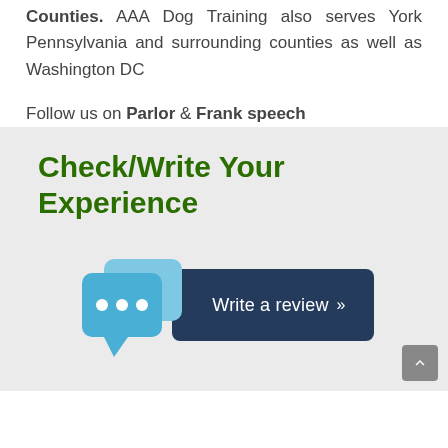Counties. AAA Dog Training also serves York Pennsylvania and surrounding counties as well as Washington DC
Follow us on Parlor & Frank speech
Check/Write Your Experience
[Figure (illustration): A 'Write a review' button with two overlapping blue speech bubble chat icons on the left and a dark navy blue rectangle button on the right with the text 'Write a review >>']